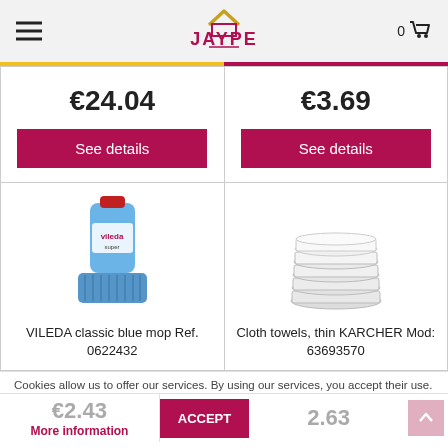[Figure (logo): JAYPE logo with house icon in red/gold]
€24.04
See details
€3.69
See details
[Figure (photo): VILEDA classic blue mop bottle with blue mop head]
VILEDA classic blue mop Ref. 0622432
[Figure (photo): Stacked white cloth towels]
Cloth towels, thin KARCHER Mod: 63693570
Cookies allow us to offer our services. By using our services, you accept their use.
€2.43
More information
€2.63
ACCEPT